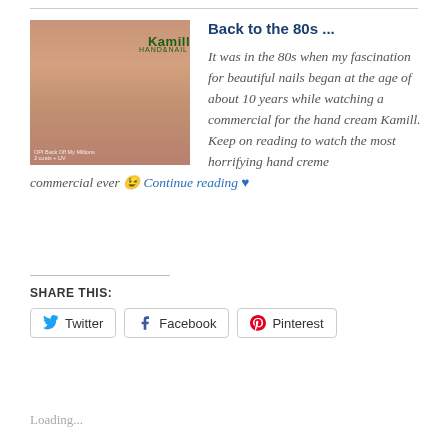[Figure (photo): Photo of a hand with manicured nails painted in a rose/peach metallic color, held next to a green Kamill Hand & Nail cream tube]
Back to the 80s ...
It was in the 80s when my fascination for beautiful nails began at the age of about 10 years while watching a commercial for the hand cream Kamill. Keep on reading to watch the most horrifying hand creme commercial ever 😉 Continue reading ♥
SHARE THIS:
Twitter  Facebook  Pinterest
Loading...